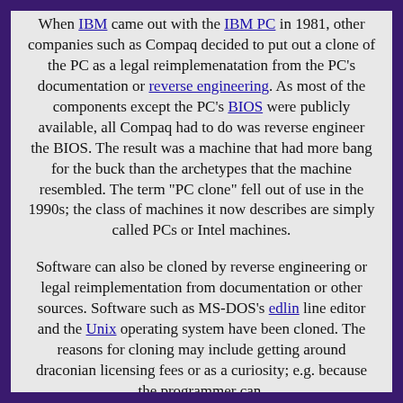When IBM came out with the IBM PC in 1981, other companies such as Compaq decided to put out a clone of the PC as a legal reimplemenatation from the PC's documentation or reverse engineering. As most of the components except the PC's BIOS were publicly available, all Compaq had to do was reverse engineer the BIOS. The result was a machine that had more bang for the buck than the archetypes that the machine resembled. The term "PC clone" fell out of use in the 1990s; the class of machines it now describes are simply called PCs or Intel machines.
Software can also be cloned by reverse engineering or legal reimplementation from documentation or other sources. Software such as MS-DOS's edlin line editor and the Unix operating system have been cloned. The reasons for cloning may include getting around draconian licensing fees or as a curiosity; e.g. because the programmer can.
The Jargon File has this definition for clone:
1. An exact duplicate: "Our product is a